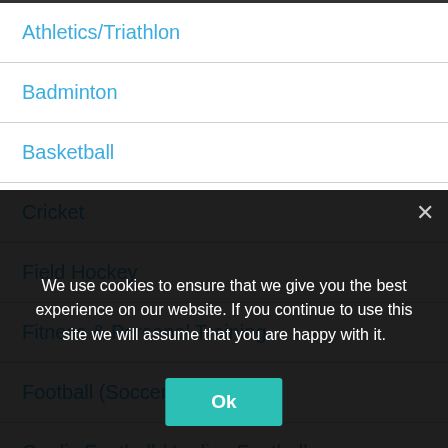Athletics/Triathlon
Badminton
Basketball
Cricket
Field Hockey
Fitness & Personal Training
Football (Soccer)
Gaelic Football / Ladies Football
General Sports Courses
Hurling/Camogie
Lacrosse
We use cookies to ensure that we give you the best experience on our website. If you continue to use this site we will assume that you are happy with it.